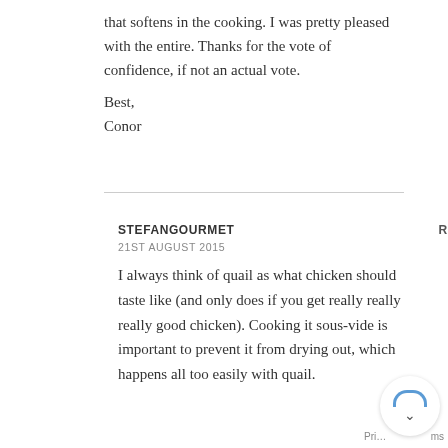that softens in the cooking. I was pretty pleased with the entire. Thanks for the vote of confidence, if not an actual vote.
Best,
Conor
STEFANGOURMET | REPLY
21ST AUGUST 2015
I always think of quail as what chicken should taste like (and only does if you get really really really good chicken). Cooking it sous-vide is important to prevent it from drying out, which happens all too easily with quail.